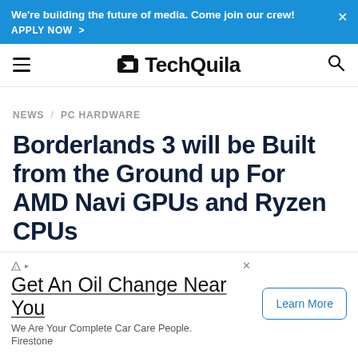We're building the future of media. Come join our crew! APPLY NOW >
TechQuila
NEWS / PC HARDWARE
Borderlands 3 will be Built from the Ground up For AMD Navi GPUs and Ryzen CPUs
Get An Oil Change Near You
We Are Your Complete Car Care People. Firestone